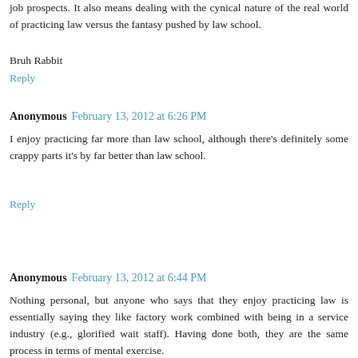job prospects. It also means dealing with the cynical nature of the real world of practicing law versus the fantasy pushed by law school.
Bruh Rabbit
Reply
Anonymous February 13, 2012 at 6:26 PM
I enjoy practicing far more than law school, although there's definitely some crappy parts it's by far better than law school.
Reply
Anonymous February 13, 2012 at 6:44 PM
Nothing personal, but anyone who says that they enjoy practicing law is essentially saying they like factory work combined with being in a service industry (e.g., glorified wait staff). Having done both, they are the same process in terms of mental exercise.